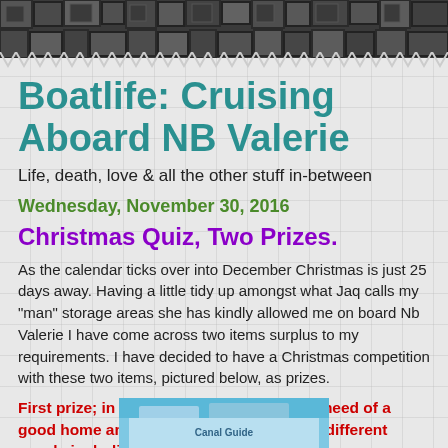[Figure (photo): Dark geometric/mosaic header band with square block pattern in dark grey and black tones]
Boatlife: Cruising Aboard NB Valerie
Life, death, love & all the other stuff in-between
Wednesday, November 30, 2016
Christmas Quiz, Two Prizes.
As the calendar ticks over into December Christmas is just 25 days away. Having a little tidy up amongst what Jaq calls my "man" storage areas she has kindly allowed me on board Nb Valerie I have come across two items surplus to my requirements.  I have  decided to have a Christmas competition with these two items, pictured below,  as prizes.
First prize; in excellent used condition in need of a good home an interesting read of several different canals including London.
[Figure (photo): Partial photo of what appears to be a book or canal guide, showing blue cover at the bottom of the page]